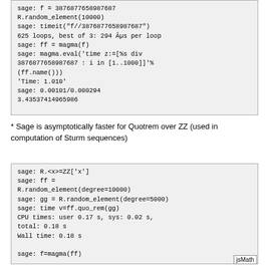[Figure (screenshot): Code block showing Sage/Python session: R.random_element(10000), timeit, magma.eval commands, and output values including 3.43537414965986]
* Sage is asymptotically faster for Quotrem over ZZ (used in computation of Sturm sequences)
[Figure (screenshot): Code block showing Sage/Python session: R.<x>=ZZ['x'], ff = R.random_element(degree=10000), gg = R.random_element(degree=5000), time v=ff.quo_rem(gg), CPU times and Wall time outputs, sage: f=magma(ff)]